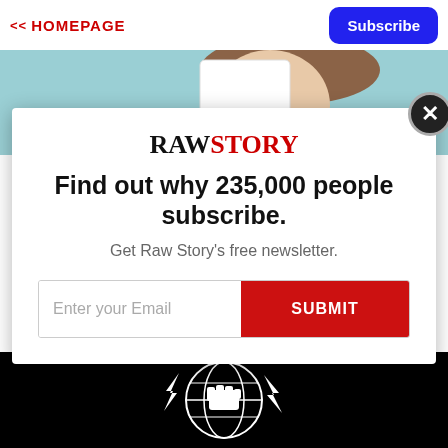<< HOMEPAGE
Subscribe
[Figure (photo): Person holding up a card in front of their face, teal background]
RAWSTORY
Find out why 235,000 people subscribe.
Get Raw Story's free newsletter.
Enter your Email  SUBMIT
[Figure (logo): Raw Story globe/press logo in white on black background]